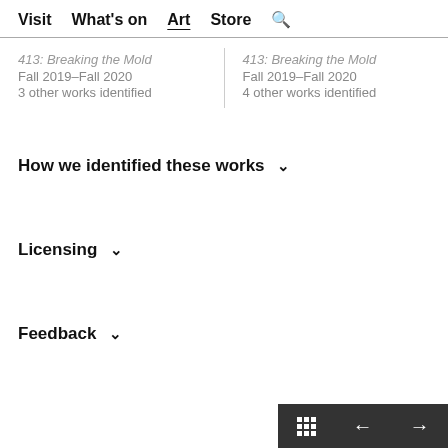Visit  What's on  Art  Store  🔍
413: Breaking the Mold
Fall 2019–Fall 2020
3 other works identified
413: Breaking the Mold
Fall 2019–Fall 2020
4 other works identified
How we identified these works ∨
Licensing ∨
Feedback ∨